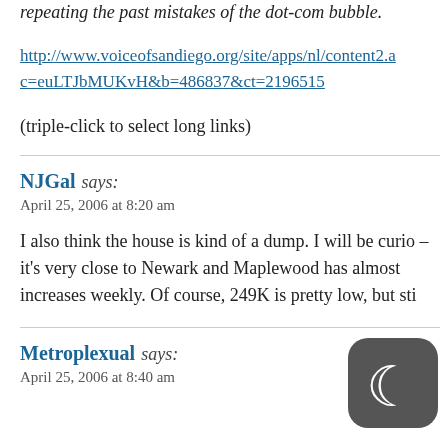repeating the past mistakes of the dot-com bubble.
http://www.voiceofsandiego.org/site/apps/nl/content2.a c=euLTJbMUKvH&b=486837&ct=2196515
(triple-click to select long links)
NJGal says:
April 25, 2006 at 8:20 am

I also think the house is kind of a dump. I will be curio – it's very close to Newark and Maplewood has almost increases weekly. Of course, 249K is pretty low, but sti
Metroplexual says:
April 25, 2006 at 8:40 am
[Figure (illustration): App icon with crescent moon symbol on dark gray rounded rectangle background]